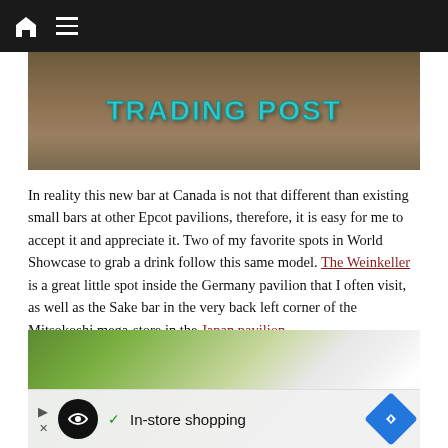Navigation bar with home and menu icons
[Figure (photo): Wooden sign reading TRADING POST in teal/turquoise lettering on a dark brown wooden beam]
In reality this new bar at Canada is not that different than existing small bars at other Epcot pavilions, therefore, it is easy for me to accept it and appreciate it. Two of my favorite spots in World Showcase to grab a drink follow this same model. The Weinkeller is a great little spot inside the Germany pavilion that I often visit, as well as the Sake bar in the very back left corner of the Mitsokoshi mega-store in the Japan pavilion.
[Figure (photo): Outdoor photo showing trees and a tent-like structure with bright sun flare, with an ad banner overlay for In-store shopping]